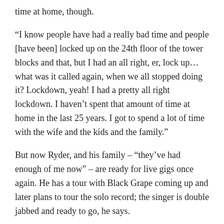time at home, though.
“I know people have had a really bad time and people [have been] locked up on the 24th floor of the tower blocks and that, but I had an all right, er, lock up… what was it called again, when we all stopped doing it? Lockdown, yeah! I had a pretty all right lockdown. I haven’t spent that amount of time at home in the last 25 years. I got to spend a lot of time with the wife and the kids and the family.”
But now Ryder, and his family – “they’ve had enough of me now” – are ready for live gigs once again. He has a tour with Black Grape coming up and later plans to tour the solo record; the singer is double jabbed and ready to go, he says.